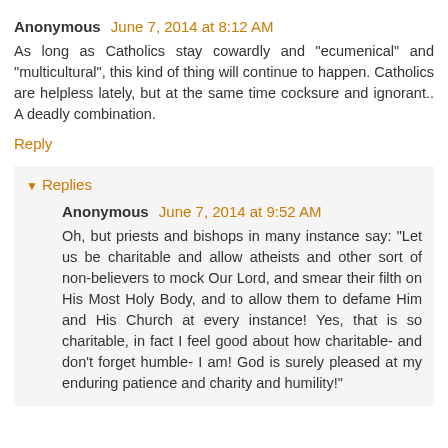Anonymous June 7, 2014 at 8:12 AM
As long as Catholics stay cowardly and "ecumenical" and "multicultural", this kind of thing will continue to happen. Catholics are helpless lately, but at the same time cocksure and ignorant.. A deadly combination.
Reply
Replies
Anonymous June 7, 2014 at 9:52 AM
Oh, but priests and bishops in many instance say: "Let us be charitable and allow atheists and other sort of non-believers to mock Our Lord, and smear their filth on His Most Holy Body, and to allow them to defame Him and His Church at every instance! Yes, that is so charitable, in fact I feel good about how charitable- and don't forget humble- I am! God is surely pleased at my enduring patience and charity and humility!"